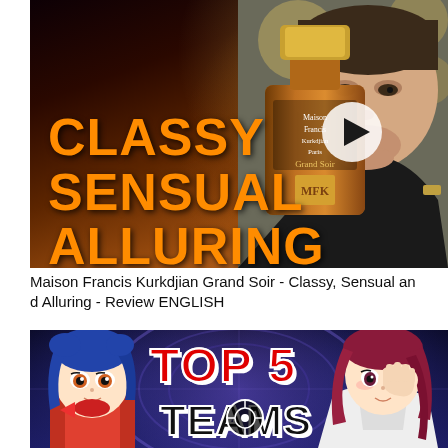[Figure (screenshot): YouTube video thumbnail: man holding chin pose next to a Maison Francis Kurkdjian perfume bottle, with orange bold text reading CLASSY SENSUAL ALLURING on dark background, play button overlay]
Maison Francis Kurkdjian Grand Soir - Classy, Sensual and Alluring - Review ENGLISH
[Figure (screenshot): YouTube video thumbnail: anime characters (blue-haired girl on left, red-haired girl on right) flanking large red TOP 5 text with TEAMS text partially visible below, on dark blue swirling background]